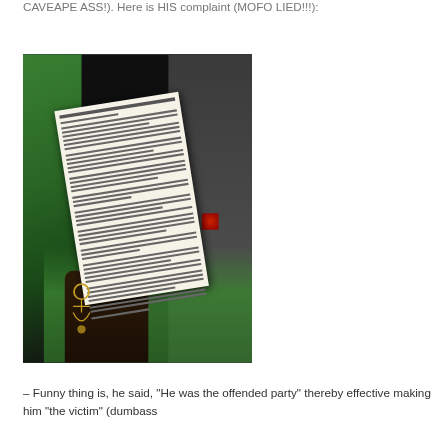CAVEAPE ASS!). Here is HIS complaint (MOFO LIED!!!):
[Figure (photo): A person holding up a multi-page document or complaint letter in what appears to be a car interior. The person is wearing green clothing and has a cross/anchor jewelry piece on their wrist. The document shows dense typed text but is not fully legible.]
– Funny thing is, he said, "He was the offended party" thereby effective making him "the victim" (dumbass